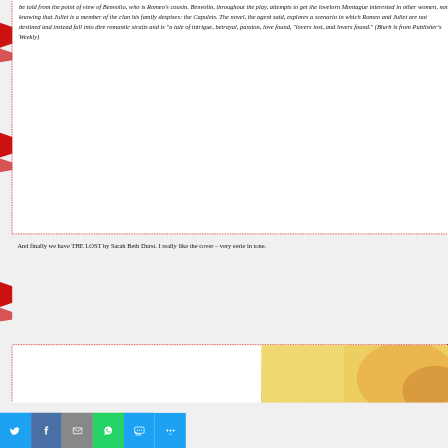be told from the point of view of Benvolio, who is Romeo's cousin. Benvolio, throughout the play, attempts to get the lovelorn Montague interested in other women, not knowing that Juliet is a member of the clan his family despises: the Capulets. The novel, the agent said, explores a scenario in which Romeo and Juliet are not destined and instead fall into dire romantic straits and is "a tale of intrigue, betrayal, passion, love found, "lovers lost, and lovers found." (Blurb is from Publisher's Weekly)
And finally we have THE LOST by Sarah Beth Durst. I really like the cover – very eerie in tone.
[Figure (photo): Book cover image – warm golden/orange tones visible at bottom right of page]
[Figure (infographic): Social share bar at bottom with Twitter, Facebook, Email, WhatsApp, SMS, and More buttons]